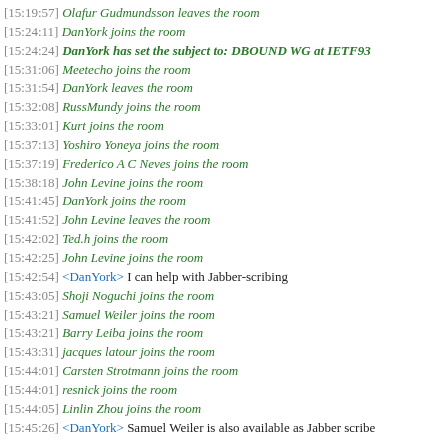[15:19:57] Olafur Gudmundsson leaves the room
[15:24:11] DanYork joins the room
[15:24:24] DanYork has set the subject to: DBOUND WG at IETF93
[15:31:06] Meetecho joins the room
[15:31:54] DanYork leaves the room
[15:32:08] RussMundy joins the room
[15:33:01] Kurt joins the room
[15:37:13] Yoshiro Yoneya joins the room
[15:37:19] Frederico A C Neves joins the room
[15:38:18] John Levine joins the room
[15:41:45] DanYork joins the room
[15:41:52] John Levine leaves the room
[15:42:02] Ted.h joins the room
[15:42:25] John Levine joins the room
[15:42:54] <DanYork> I can help with Jabber-scribing
[15:43:05] Shoji Noguchi joins the room
[15:43:21] Samuel Weiler joins the room
[15:43:21] Barry Leiba joins the room
[15:43:31] jacques latour joins the room
[15:44:01] Carsten Strotmann joins the room
[15:44:01] resnick joins the room
[15:44:05] Linlin Zhou joins the room
[15:45:26] <DanYork> Samuel Weiler is also available as Jabber scribe